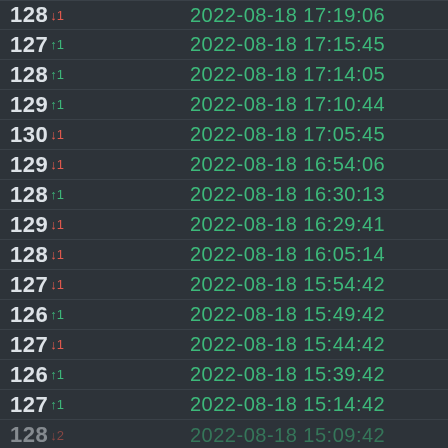| Value | Timestamp |
| --- | --- |
| 128 ↓1 | 2022-08-18 17:19:06 |
| 127 ↑1 | 2022-08-18 17:15:45 |
| 128 ↑1 | 2022-08-18 17:14:05 |
| 129 ↑1 | 2022-08-18 17:10:44 |
| 130 ↓1 | 2022-08-18 17:05:45 |
| 129 ↓1 | 2022-08-18 16:54:06 |
| 128 ↑1 | 2022-08-18 16:30:13 |
| 129 ↓1 | 2022-08-18 16:29:41 |
| 128 ↓1 | 2022-08-18 16:05:14 |
| 127 ↓1 | 2022-08-18 15:54:42 |
| 126 ↑1 | 2022-08-18 15:49:42 |
| 127 ↓1 | 2022-08-18 15:44:42 |
| 126 ↑1 | 2022-08-18 15:39:42 |
| 127 ↑1 | 2022-08-18 15:14:42 |
| 128 ↓2 | 2022-08-18 15:09:42 |